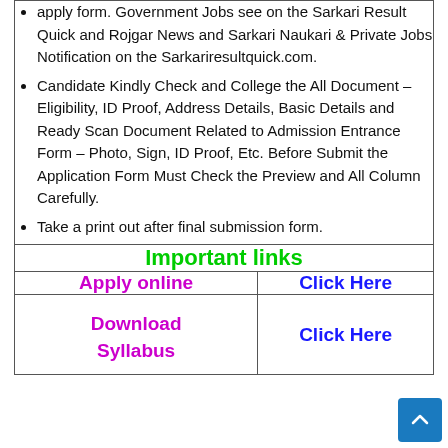apply form. Government Jobs see on the Sarkari Result Quick and Rojgar News and Sarkari Naukari & Private Jobs Notification on the Sarkariresultquick.com.
Candidate Kindly Check and College the All Document – Eligibility, ID Proof, Address Details, Basic Details and Ready Scan Document Related to Admission Entrance Form – Photo, Sign, ID Proof, Etc. Before Submit the Application Form Must Check the Preview and All Column Carefully.
Take a print out after final submission form.
Important links
|  |  |
| --- | --- |
| Apply online | Click Here |
| Download Syllabus | Click Here |